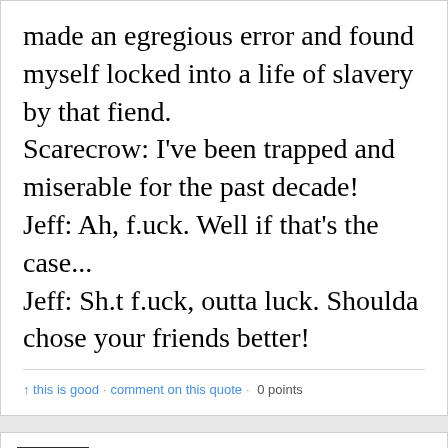made an egregious error and found myself locked into a life of slavery by that fiend. Scarecrow: I've been trapped and miserable for the past decade! Jeff: Ah, f.uck. Well if that's the case... Jeff: Sh.t f.uck, outta luck. Shoulda chose your friends better!
↑ this is good · comment on this quote · 0 points
lillan122
posted a quote
June 30, 2013 1:07pm UTC